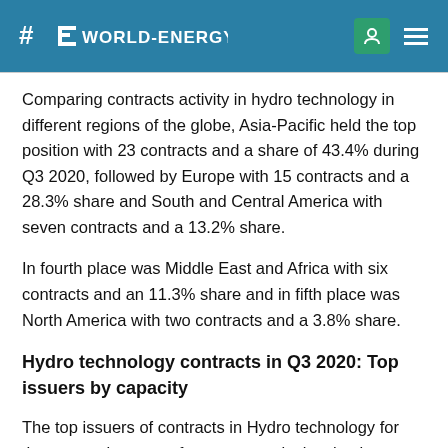WORLD-ENERGY
Comparing contracts activity in hydro technology in different regions of the globe, Asia-Pacific held the top position with 23 contracts and a share of 43.4% during Q3 2020, followed by Europe with 15 contracts and a 28.3% share and South and Central America with seven contracts and a 13.2% share.
In fourth place was Middle East and Africa with six contracts and an 11.3% share and in fifth place was North America with two contracts and a 3.8% share.
Hydro technology contracts in Q3 2020: Top issuers by capacity
The top issuers of contracts in Hydro technology for the quarter in terms of power capacity involved were:
Government of Pakistan (Pakistan): 700.7MW from one